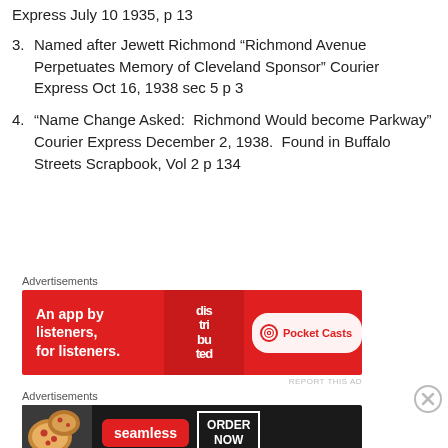Express July 10 1935, p 13
3. Named after Jewett Richmond “Richmond Avenue Perpetuates Memory of Cleveland Sponsor” Courier Express Oct 16, 1938 sec 5 p 3
4. “Name Change Asked:  Richmond Would become Parkway” Courier Express December 2, 1938.  Found in Buffalo Streets Scrapbook, Vol 2 p 134
[Figure (other): Pocket Casts advertisement banner: red background, text 'An app by listeners, for listeners.' with phone graphic and Pocket Casts logo]
[Figure (other): Seamless food delivery advertisement banner: dark background with pizza image, Seamless logo, and ORDER NOW button]